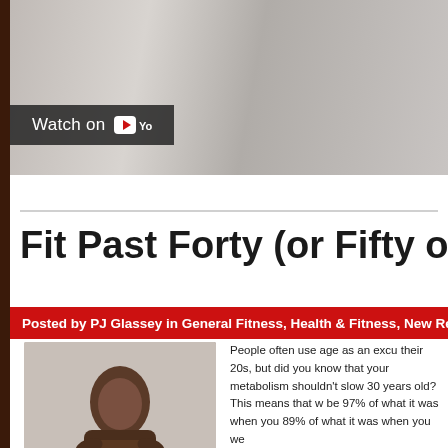[Figure (screenshot): YouTube video thumbnail showing a gym/weightlifting scene with a 'Watch on YouTube' badge overlay]
Fit Past Forty (or Fifty or Fu
Posted by PJ Glassey in General Fitness, Health & Fitness, New Res
[Figure (photo): Athletic Black man posing shirtless showing muscular physique against a light background]
People often use age as an excuse for their 20s, but did you know that your metabolism shouldn't slow 30 years old? This means that w be 97% of what it was when you 89% of what it was when you we
Why is the decline usually faster become more sedentary and/or